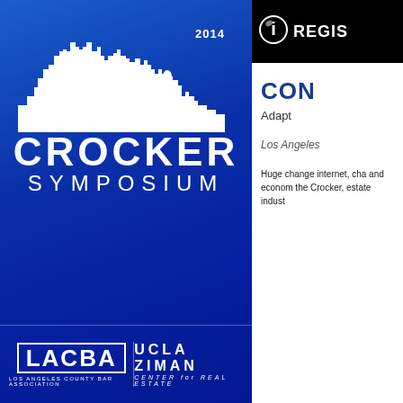[Figure (illustration): Crocker Symposium 2014 event banner with city skyline silhouette in white on blue gradient background, featuring LACBA and UCLA Ziman Center for Real Estate logos]
REGIS
CON
Adapt
Los Angeles
Huge changes internet, cha and econom the Crocker, estate indust